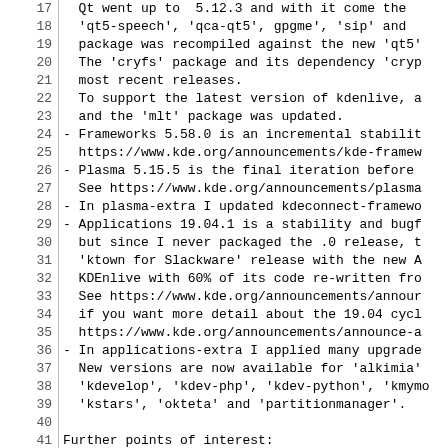17   Qt went up to  5.12.3 and with it come the
18   'qt5-speech', 'qca-qt5', gpgme', 'sip' and
19   package was recompiled against the new 'qt5'
20   The 'cryfs' package and its dependency 'cryp
21   most recent releases.
22   To support the latest version of kdenlive, a
23   and the 'mlt' package was updated.
24 - Frameworks 5.58.0 is an incremental stabilit
25   https://www.kde.org/announcements/kde-framew
26 - Plasma 5.15.5 is the final iteration before
27   See https://www.kde.org/announcements/plasma
28 - In plasma-extra I updated kdeconnect-framewo
29 - Applications 19.04.1 is a stability and bugf
30   but since I never packaged the .0 release, t
31   'ktown for Slackware' release with the new A
32   KDEnlive with 60% of its code re-written fro
33   See https://www.kde.org/announcements/annour
34   if you want more detail about the 19.04 cycl
35   https://www.kde.org/announcements/announce-a
36 - In applications-extra I applied many upgrade
37   New versions are now available for 'alkimia'
38   'kdevelop', 'kdev-php', 'kdev-python', 'kmymo
39   'kstars', 'okteta' and 'partitionmanager'.
40
41 Further points of interest:
42 - If you have a KDE4-based application that ne
43   Plasma 5 desktop, let me know which of the r
44   in 'kde/kde4'!
45 - There are a couple of *runtime* dependencies
46   ktown repository, but you may want to consid